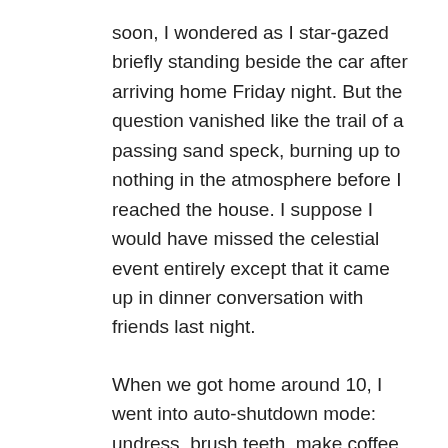soon, I wondered as I star-gazed briefly standing beside the car after arriving home Friday night. But the question vanished like the trail of a passing sand speck, burning up to nothing in the atmosphere before I reached the house. I suppose I would have missed the celestial event entirely except that it came up in dinner conversation with friends last night.
When we got home around 10, I went into auto-shutdown mode: undress, brush teeth, make coffee, collapse in bed.
“I thought you were going outside when we got home” Ann reminded me. Great timing, I thought, as I’d already started sinking below the lily pads,